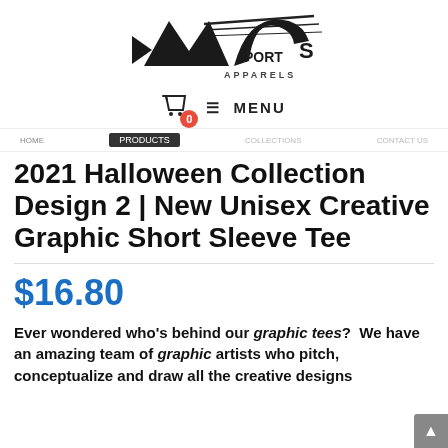[Figure (logo): MC Sports Apparels logo - stylized MC letters with speed lines, 'APPARELS' text below]
0  MENU
HOME  PRODUCTS  COLLECTIONS  CONTACT
2021 Halloween Collection Design 2 | New Unisex Creative Graphic Short Sleeve Tee
$16.80
Ever wondered who's behind our graphic tees?  We have an amazing team of graphic artists who pitch, conceptualize and draw all the creative designs